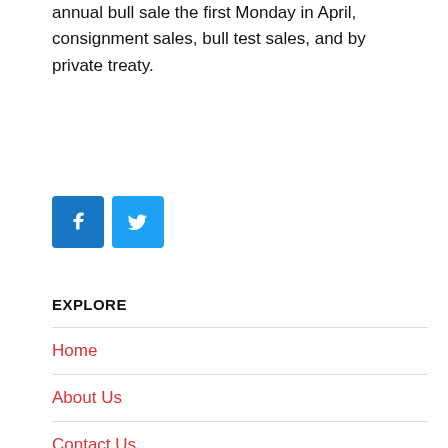annual bull sale the first Monday in April, consignment sales, bull test sales, and by private treaty.
[Figure (illustration): Facebook and Twitter social media share buttons (blue square icons with white logos)]
EXPLORE
Home
About Us
Contact Us
Cow Families